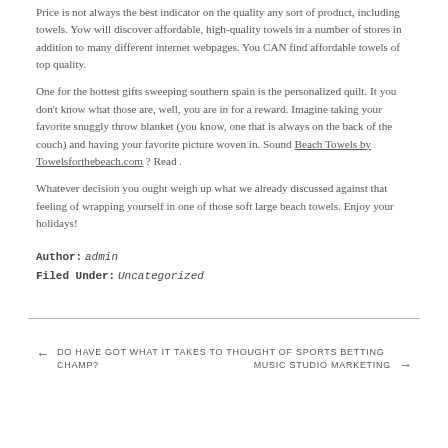Price is not always the best indicator on the quality any sort of product, including towels. Yow will discover affordable, high-quality towels in a number of stores in addition to many different internet webpages. You CAN find affordable towels of top quality.
One for the hottest gifts sweeping southern spain is the personalized quilt. It you don’t know what those are, well, you are in for a reward. Imagine taking your favorite snuggly throw blanket (you know, one that is always on the back of the couch) and having your favorite picture woven in. Sound Beach Towels by Towelsforthebeach.com ? Read .
Whatever decision you ought weigh up what we already discussed against that feeling of wrapping yourself in one of those soft large beach towels. Enjoy your holidays!
Author: admin
Filed Under: Uncategorized
← DO HAVE GOT WHAT IT TAKES TO THOUGHT OF SPORTS BETTING CHAMP?
MUSIC STUDIO MARKETING →